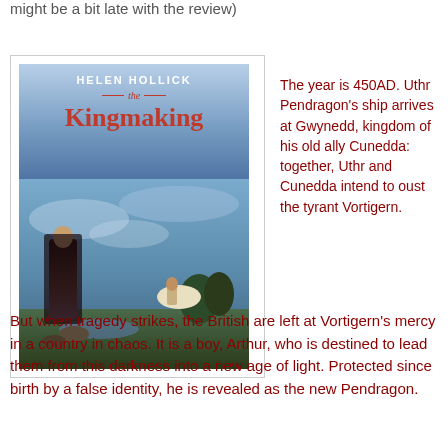might be a bit late with the review)
[Figure (photo): Book cover of 'The Kingmaking' by Helen Hollick, showing a medieval fantasy scene with a woman in dark robes standing near water, a white horse and rider in the background, and a dramatic cloudy sky.]
The year is 450AD. Uthr Pendragon's ship arrives at Gwynedd, kingdom of his old ally Cunedda: together, Uthr and Cunedda intend to oust the tyrant Vortigern.
But when tragedy strikes, the British are left at Vortigern's mercy in a country in chaos. It is a boy, Arthur, who is destined to lead them from this darkness into a new age of light. Protected since birth by a false identity, he is revealed as the new Pendragon.